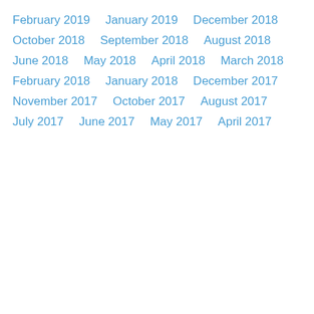February 2019
January 2019
December 2018
October 2018
September 2018
August 2018
June 2018
May 2018
April 2018
March 2018
February 2018
January 2018
December 2017
November 2017
October 2017
August 2017
July 2017
June 2017
May 2017
April 2017